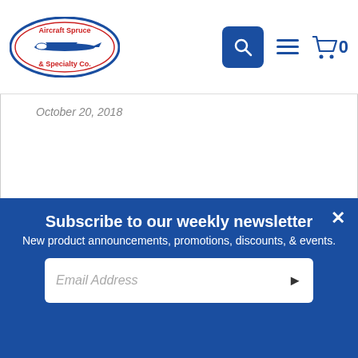[Figure (logo): Aircraft Spruce & Specialty Co. logo — oval shape with airplane silhouette, red text and blue border, 'Since 1965']
[Figure (screenshot): Navigation header icons: blue search button with magnifying glass, hamburger menu icon in blue, shopping cart icon in blue with '0' count]
October 20, 2018
★★★★☆
As a virtual pilot I start practising some cross
[Figure (other): TOP back-to-top button circle with upward chevron arrow and 'TOP' label]
Subscribe to our weekly newsletter
New product announcements, promotions, discounts, & events.
Email Address